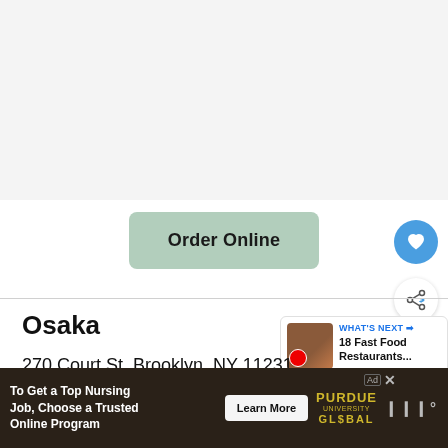[Figure (screenshot): Gray placeholder area representing a map or image at the top of the page]
Order Online
Osaka
270 Court St, Brooklyn, NY 11231
Phone: 718-643-0044
[Figure (infographic): What's Next panel showing '18 Fast Food Restaurants...' with thumbnail image]
To Get a Top Nursing Job, Choose a Trusted Online Program
Learn More
[Figure (logo): Purdue University Global logo]